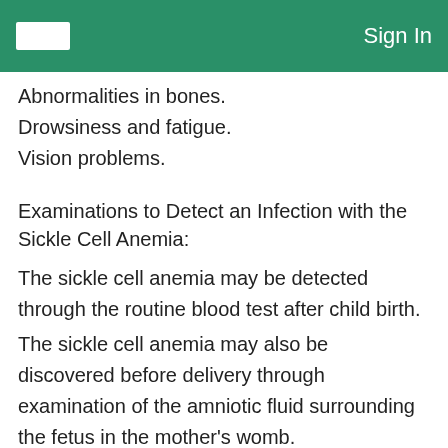Sign In
Abnormalities in bones.
Drowsiness and fatigue.
Vision problems.
Examinations to Detect an Infection with the Sickle Cell Anemia:
The sickle cell anemia may be detected through the routine blood test after child birth.
The sickle cell anemia may also be discovered before delivery through examination of the amniotic fluid surrounding the fetus in the mother's womb.